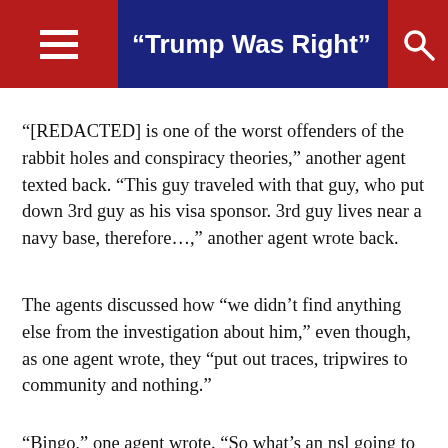“Trump Was Right”
“[REDACTED] is one of the worst offenders of the rabbit holes and conspiracy theories,” another agent texted back. “This guy traveled with that guy, who put down 3rd guy as his visa sponsor. 3rd guy lives near a navy base, therefore…,” another agent wrote back.
The agents discussed how “we didn’t find anything else from the investigation about him,” even though, as one agent wrote, they “put out traces, tripwires to community and nothing.”
“Bingo,” one agent wrote. “So what’s an nsl going to do, no content.”